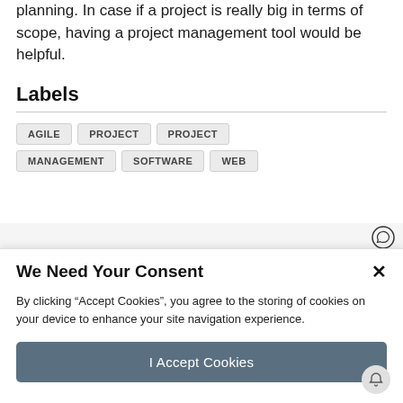planning. In case if a project is really big in terms of scope, having a project management tool would be helpful.
Labels
AGILE
PROJECT
PROJECT MANAGEMENT
SOFTWARE
WEB
We Need Your Consent
By clicking “Accept Cookies”, you agree to the storing of cookies on your device to enhance your site navigation experience.
I Accept Cookies